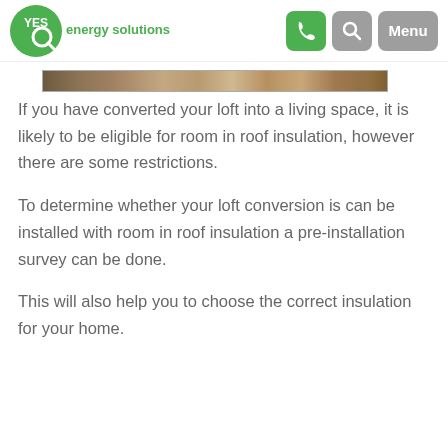YES energy solutions — navigation header with phone, search, and menu icons
[Figure (photo): A narrow horizontal strip showing a wooden/timber roof structure texture]
If you have converted your loft into a living space, it is likely to be eligible for room in roof insulation, however there are some restrictions.
To determine whether your loft conversion is can be installed with room in roof insulation a pre-installation survey can be done.
This will also help you to choose the correct insulation for your home.